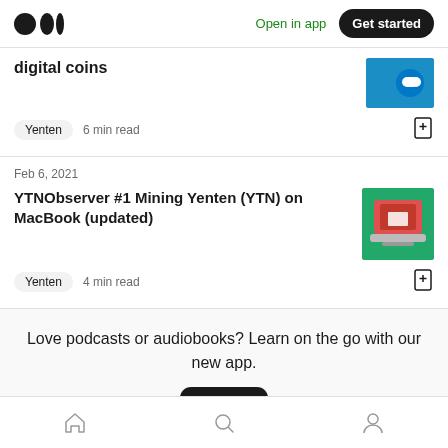Medium logo | Open in app | Get started
digital coins
Yenten  6 min read
Feb 6, 2021
YTNObserver #1 Mining Yenten (YTN) on MacBook (updated)
Yenten  4 min read
Love podcasts or audiobooks? Learn on the go with our new app.
Home | Search | Profile